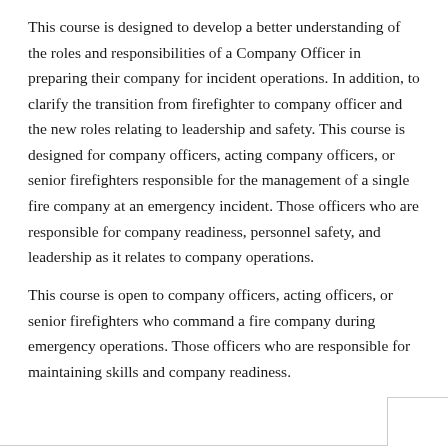This course is designed to develop a better understanding of the roles and responsibilities of a Company Officer in preparing their company for incident operations. In addition, to clarify the transition from firefighter to company officer and the new roles relating to leadership and safety. This course is designed for company officers, acting company officers, or senior firefighters responsible for the management of a single fire company at an emergency incident. Those officers who are responsible for company readiness, personnel safety, and leadership as it relates to company operations.
This course is open to company officers, acting officers, or senior firefighters who command a fire company during emergency operations. Those officers who are responsible for maintaining skills and company readiness.